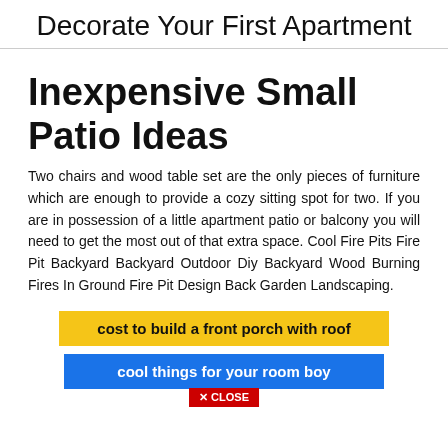Decorate Your First Apartment
Inexpensive Small Patio Ideas
Two chairs and wood table set are the only pieces of furniture which are enough to provide a cozy sitting spot for two. If you are in possession of a little apartment patio or balcony you will need to get the most out of that extra space. Cool Fire Pits Fire Pit Backyard Backyard Outdoor Diy Backyard Wood Burning Fires In Ground Fire Pit Design Back Garden Landscaping.
cost to build a front porch with roof
cool things for your room boy
✕ CLOSE